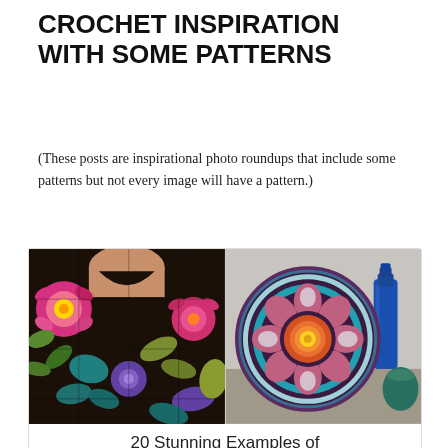CROCHET INSPIRATION WITH SOME PATTERNS
(These posts are inspirational photo roundups that include some patterns but not every image will have a pattern.)
[Figure (photo): Two photos side by side: left shows a colorful stained-glass-inspired crochet top with floral motifs in pink, green, teal, and purple on black; right shows a circular crochet pillow with a flower design in pink, teal, and yellow on a dark background, next to a blue glass bottle.]
20 Stunning Examples of Stained Glass Inspired Crochet